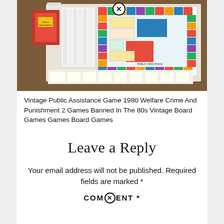[Figure (photo): Photo of a vintage board game set laid out on a wooden table. Components include a colorful game board resembling Monopoly layout with red, blue, green, yellow squares, game cards, playing pieces, currency/money strips, red folder/booklet, and reference sheets.]
Vintage Public Assistance Game 1980 Welfare Crime And Punishment 2 Games Banned In The 80s Vintage Board Games Games Board Games
Leave a Reply
Your email address will not be published. Required fields are marked *
COMMENT *